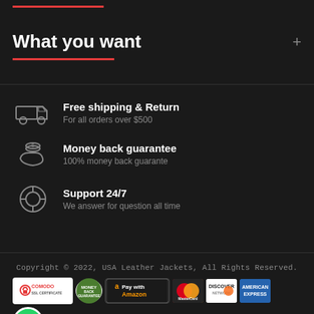What you want
Free shipping & Return
For all orders over $500
Money back guarantee
100% money back guarante
Support 24/7
We answer for question all time
Copyright © 2022, USA Leather Jackets, All Rights Reserved.